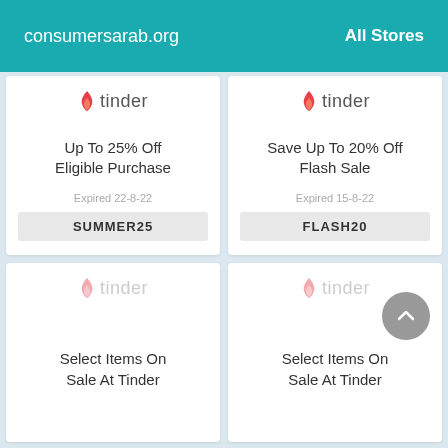consumersarab.org   All Stores
Up To 25% Off Eligible Purchase
Expired 22-8-22
SUMMER25
Save Up To 20% Off Flash Sale
Expired 15-8-22
FLASH20
Select Items On Sale At Tinder
Select Items On Sale At Tinder